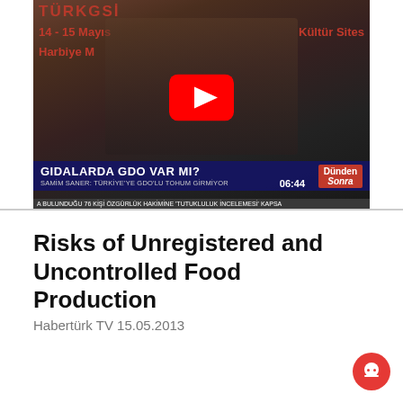[Figure (screenshot): YouTube video thumbnail showing a TV broadcast from Habertürk TV with a man in a suit speaking. The lower-third banner reads 'GIDALARDA GDO VAR MI?' with subtitle 'SAMİM SANER: TÜRKİYE'YE GDO'LU TOHUM GİRMİYOR' and a 'Dünden Sonra' badge. A red YouTube play button is overlaid in the center. A news ticker at the bottom shows partial text about 76 people and 'TUTUKLULUK İNCELEMESİ'.]
Risks of Unregistered and Uncontrolled Food Production
Habertürk TV 15.05.2013